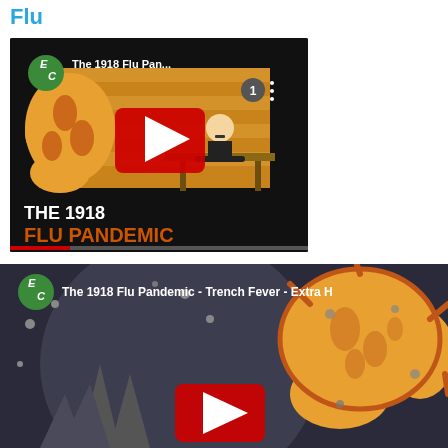Flu
[Figure (screenshot): YouTube video thumbnail for 'The 1918 Flu Pan...' by Extra Credits channel. Shows animated illustration of a man at a desk with an orange/brown background and flu virus imagery. Text overlay reads 'THE 1918 FLU PANDEMIC'. Red YouTube play button in center. Notification badge showing '1' in top right.]
[Figure (screenshot): YouTube video thumbnail for 'The 1918 Flu Pandemic - Trench Fever - Extra H' by Extra Credits channel. Shows animated illustration of flu virus cartoon character (orange/tan) on dark grey background with buildings/spikes. Red YouTube play button visible at bottom center.]